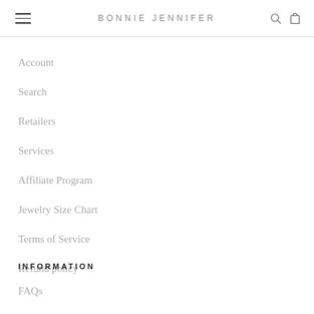BONNIE JENNIFER
Account
Search
Retailers
Services
Affiliate Program
Jewelry Size Chart
Terms of Service
Refund policy
INFORMATION
FAQs